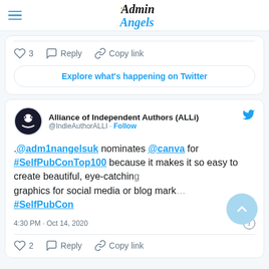Admin Angels
[Figure (screenshot): Twitter interaction bar showing heart icon with 3 likes, Reply button, and Copy link button]
Explore what's happening on Twitter
Alliance of Independent Authors (ALLi) @IndieAuthorALLI · Follow
.@adm1nangelsuk nominates @canva for #SelfPubConTop100 because it makes it so easy to create beautiful, eye-catching graphics for social media or blog mark… #SelfPubCon
4:30 PM · Oct 14, 2020
[Figure (screenshot): Twitter interaction bar showing heart icon with 2 likes, Reply button, and Copy link button]